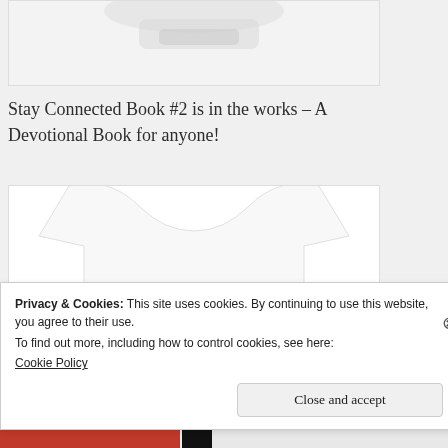[Figure (photo): Partial image of product (top cropped) on light gray background]
Stay Connected Book #2 is in the works – A Devotional Book for anyone!
[Figure (photo): White long-sleeve shirt with 'Guide me in Truth' text and anchor/ship wheel graphic]
Privacy & Cookies: This site uses cookies. By continuing to use this website, you agree to their use.
To find out more, including how to control cookies, see here:
Cookie Policy
Close and accept